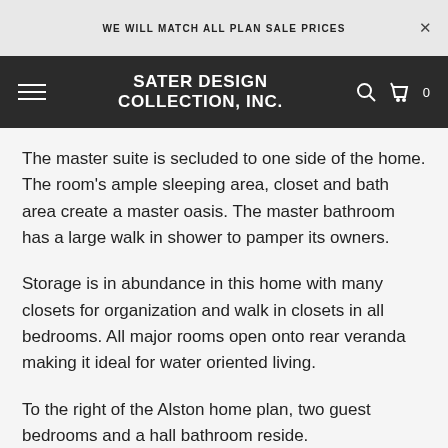WE WILL MATCH ALL PLAN SALE PRICES
[Figure (logo): Sater Design Collection, Inc. logo in white bold text on dark background with hamburger menu, search icon, and cart icon]
The master suite is secluded to one side of the home. The room's ample sleeping area, closet and bath area create a master oasis. The master bathroom has a large walk in shower to pamper its owners.
Storage is in abundance in this home with many closets for organization and walk in closets in all bedrooms. All major rooms open onto rear veranda making it ideal for water oriented living.
To the right of the Alston home plan, two guest bedrooms and a hall bathroom reside.